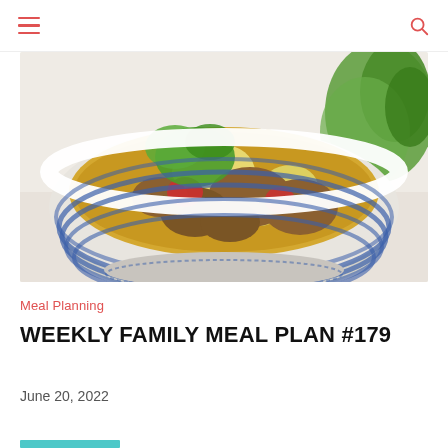[Figure (photo): A blue and white striped bowl filled with golden curry containing meat chunks, potatoes, and tomatoes, garnished with fresh cilantro. A bunch of cilantro is visible in the background on a white marble surface.]
Meal Planning
WEEKLY FAMILY MEAL PLAN #179
June 20, 2022